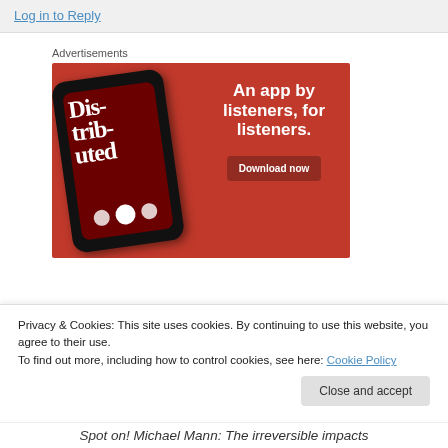Log in to Reply
Advertisements
[Figure (screenshot): Advertisement banner with red background showing a smartphone displaying a podcast app with text 'Dis-trib-uted' and tagline 'An app by listeners, for listeners.' with a 'Download now' button]
Privacy & Cookies: This site uses cookies. By continuing to use this website, you agree to their use.
To find out more, including how to control cookies, see here: Cookie Policy
Close and accept
Spot on! Michael Mann: The irreversible impacts